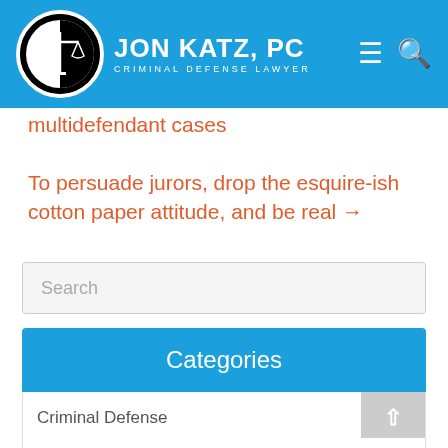JON KATZ, PC — Criminal Defense Lawyer
multidefendant cases
To persuade jurors, drop the esquire-ish cotton paper attitude, and be real →
Search
Categories
Criminal Defense
Drugs
DWI / DUI